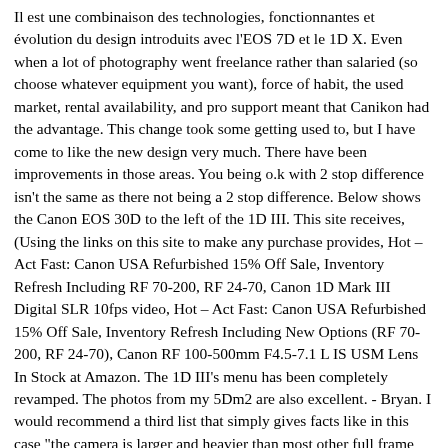Il est une combinaison des technologies, fonctionnantes et évolution du design introduits avec l'EOS 7D et le 1D X. Even when a lot of photography went freelance rather than salaried (so choose whatever equipment you want), force of habit, the used market, rental availability, and pro support meant that Canikon had the advantage. This change took some getting used to, but I have come to like the new design very much. There have been improvements in those areas. You being o.k with 2 stop difference isn't the same as there not being a 2 stop difference. Below shows the Canon EOS 30D to the left of the 1D III. This site receives, (Using the links on this site to make any purchase provides, Hot – Act Fast: Canon USA Refurbished 15% Off Sale, Inventory Refresh Including RF 70-200, RF 24-70, Canon 1D Mark III Digital SLR 10fps video, Hot – Act Fast: Canon USA Refurbished 15% Off Sale, Inventory Refresh Including New Options (RF 70-200, RF 24-70), Canon RF 100-500mm F4.5-7.1 L IS USM Lens In Stock at Amazon. The 1D III's menu has been completely revamped. The photos from my 5Dm2 are also excellent. - Bryan. I would recommend a third list that simply gives facts like in this case "the camera is larger and heavier than most other full frame cameras". Usefulness is somewhat limited by Live View's MF (Manual Focus) only restriction (the lens AF/MF switch must be in the MF position), but it is a great feature. Thing is, and some never seem to get it, most pros don't prioritize absolute control of noise in their most important camera characteristics. It has a new 10.1 megapixel CMOS sensor (APS-H size) with Canon's EOS